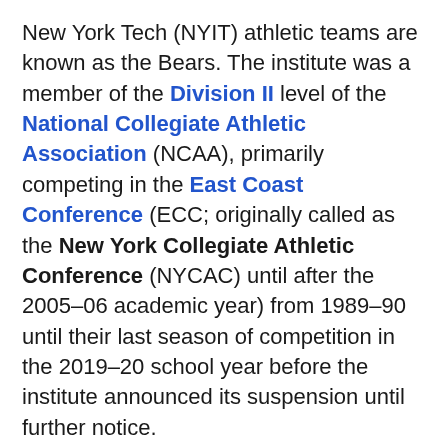New York Tech (NYIT) athletic teams are known as the Bears. The institute was a member of the Division II level of the National Collegiate Athletic Association (NCAA), primarily competing in the East Coast Conference (ECC; originally called as the New York Collegiate Athletic Conference (NYCAC) until after the 2005–06 academic year) from 1989–90 until their last season of competition in the 2019–20 school year before the institute announced its suspension until further notice.
NYIT sponsored an intercollegiate athletics program in 12 varsity teams. Men's sports included baseball, basketball, cross country, lacrosse, soccer and track & field; while women's sports included basketball, cross country, lacrosse, soccer, softball and track & field.